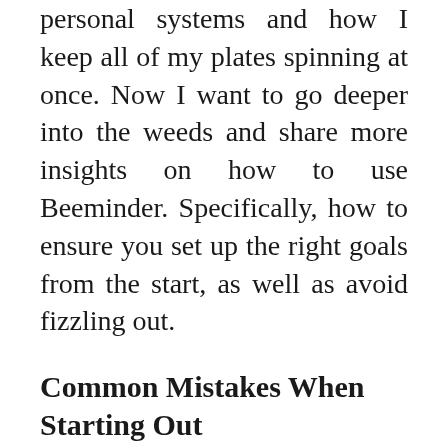personal systems and how I keep all of my plates spinning at once. Now I want to go deeper into the weeds and share more insights on how to use Beeminder. Specifically, how to ensure you set up the right goals from the start, as well as avoid fizzling out.
Common Mistakes When Starting Out
I'll start with the major slip-ups I found myself making when I first started beeminding. These caused me